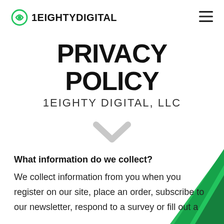1EIGHTYDIGITAL
PRIVACY POLICY
1EIGHTY DIGITAL, LLC
[Figure (illustration): Gray chevron/down-arrow decorative element centered below title, and green geometric angular shape in the lower right corner]
What information do we collect?
We collect information from you when you register on our site, place an order, subscribe to our newsletter, respond to a survey or fill out a